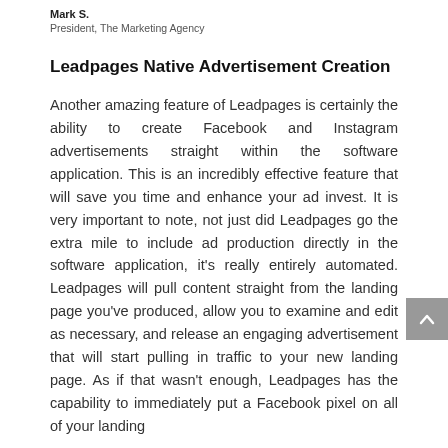Mark S.
President, The Marketing Agency
Leadpages Native Advertisement Creation
Another amazing feature of Leadpages is certainly the ability to create Facebook and Instagram advertisements straight within the software application. This is an incredibly effective feature that will save you time and enhance your ad invest. It is very important to note, not just did Leadpages go the extra mile to include ad production directly in the software application, it's really entirely automated. Leadpages will pull content straight from the landing page you've produced, allow you to examine and edit as necessary, and release an engaging advertisement that will start pulling in traffic to your new landing page. As if that wasn't enough, Leadpages has the capability to immediately put a Facebook pixel on all of your landing